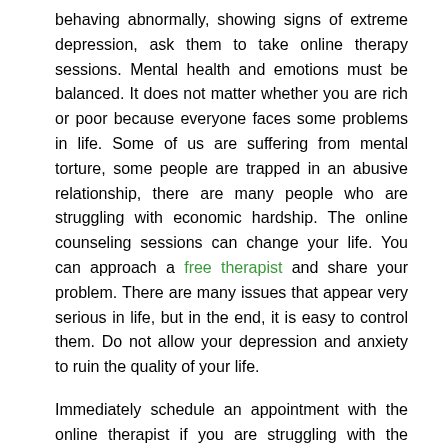behaving abnormally, showing signs of extreme depression, ask them to take online therapy sessions. Mental health and emotions must be balanced. It does not matter whether you are rich or poor because everyone faces some problems in life. Some of us are suffering from mental torture, some people are trapped in an abusive relationship, there are many people who are struggling with economic hardship. The online counseling sessions can change your life. You can approach a free therapist and share your problem. There are many issues that appear very serious in life, but in the end, it is easy to control them. Do not allow your depression and anxiety to ruin the quality of your life.
Immediately schedule an appointment with the online therapist if you are struggling with the following:
Overwhelmed – Sometimes it becomes difficult